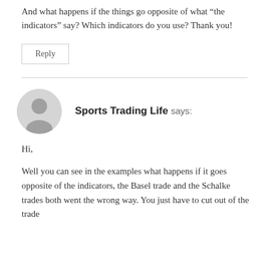And what happens if the things go opposite of what “the indicators” say? Which indicators do you use? Thank you!
Reply
Sports Trading Life says:
Hi,
Well you can see in the examples what happens if it goes opposite of the indicators, the Basel trade and the Schalke trades both went the wrong way. You just have to cut out of the trade